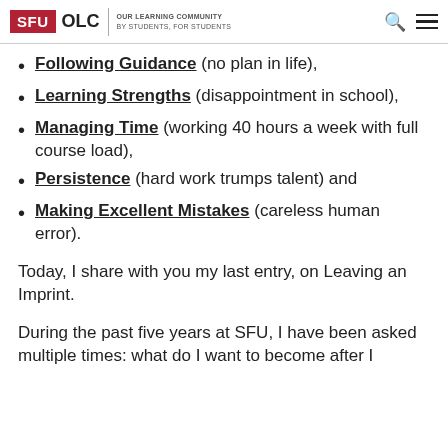SFU OLC | OUR LEARNING COMMUNITY BY STUDENTS, FOR STUDENTS
Following Guidance (no plan in life),
Learning Strengths (disappointment in school),
Managing Time (working 40 hours a week with full course load),
Persistence (hard work trumps talent) and
Making Excellent Mistakes (careless human error).
Today, I share with you my last entry, on Leaving an Imprint.
During the past five years at SFU, I have been asked multiple times: what do I want to become after I